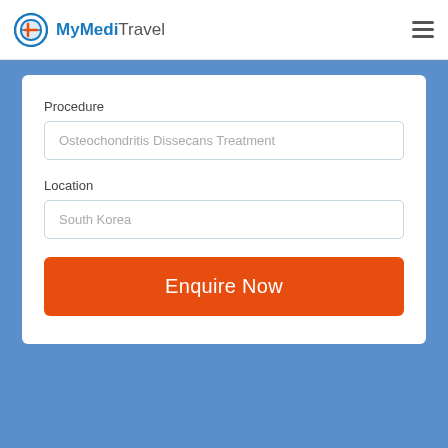MyMediTravel
Procedure
Osteochondritis Dissecans Treatment
Location
South Korea
Enquire Now